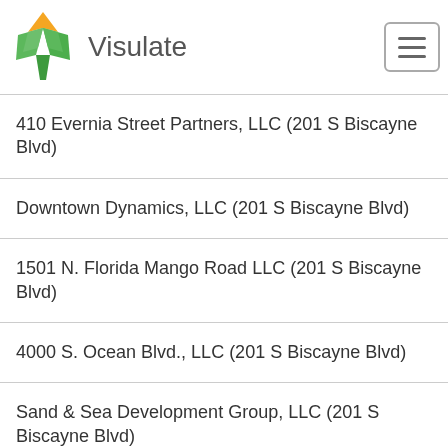Visulate
410 Evernia Street Partners, LLC (201 S Biscayne Blvd)
Downtown Dynamics, LLC (201 S Biscayne Blvd)
1501 N. Florida Mango Road LLC (201 S Biscayne Blvd)
4000 S. Ocean Blvd., LLC (201 S Biscayne Blvd)
Sand & Sea Development Group, LLC (201 S Biscayne Blvd)
Mbc Property Holdings, LLC (201 S Biscayne Blvd)
Cbm Holdings LLC (201 S Biscayne Blvd)
45th Street Development, LLC (201 S Biscayne Blvd)
Congress Mbc LLC (201 S Biscayne Blvd)
Oz57 LLC (201 S Biscayne Blvd)